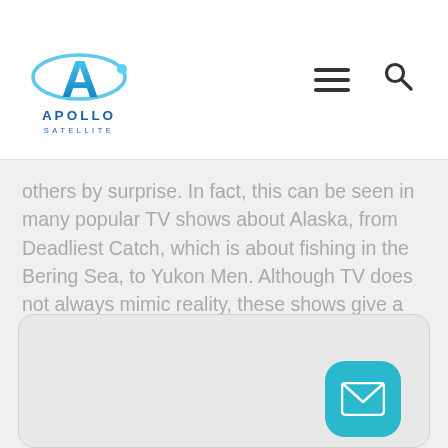[Figure (logo): Apollo Satellite logo with stylized A and satellite orbit graphic in blue, with 'APOLLO SATELLITE' text below]
others by surprise. In fact, this can be seen in many popular TV shows about Alaska, from Deadliest Catch, which is about fishing in the Bering Sea, to Yukon Men. Although TV does not always mimic reality, these shows give a good glimpse into how remote parts of Alaska can be and how hard it can be to get to them.
[Figure (screenshot): Bottom card section with rounded rectangle border and a teal mail/envelope button in the bottom right corner]